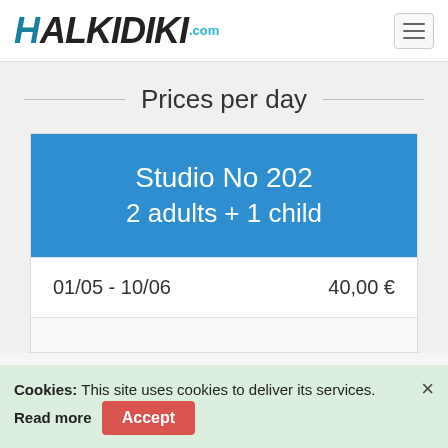HALKIDIKI.com
Prices per day
| Studio No 202 2 adults + 1 child |  |
| --- | --- |
| 01/05 - 10/06 | 40,00 € |
|  |  |
Cookies: This site uses cookies to deliver its services. Read more Accept